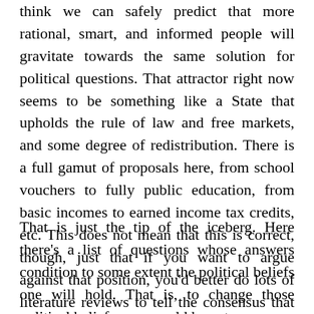think we can safely predict that more rational, smart, and informed people will gravitate towards the same solution for political questions. That attractor right now seems to be something like a State that upholds the rule of law and free markets, and some degree of redistribution. There is a full gamut of proposals here, from school vouchers to fully public education, from basic incomes to earned income tax credits, etc. This does not mean that this is correct, though, just that if you want to argue against that position, you'd better do lots of literature reviews to tell the consensus that they are wrong and you are right.
That is just the tip of the iceberg. Here there's a list of questions whose answers condition to some extent the political beliefs one will hold. That is, to change those political beliefs, one would have to